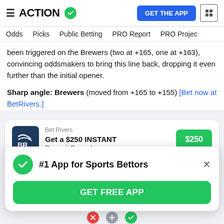ACTION
Odds | Picks | Public Betting | PRO Report | PRO Project
been triggered on the Brewers (two at +165, one at +163), convincing oddsmakers to bring this line back, dropping it even further than the initial opener.
Sharp angle: Brewers (moved from +165 to +155) [Bet now at BetRivers.]
[Figure (infographic): BetRivers promotional card: Get a $250 INSTANT Deposit Bonus! with a $250 green button]
[Figure (infographic): Popup overlay: #1 App for Sports Bettors with a GET FREE APP green button and close X]